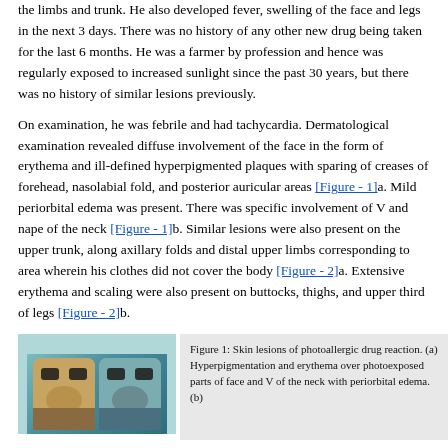the limbs and trunk. He also developed fever, swelling of the face and legs in the next 3 days. There was no history of any other new drug being taken for the last 6 months. He was a farmer by profession and hence was regularly exposed to increased sunlight since the past 30 years, but there was no history of similar lesions previously.
On examination, he was febrile and had tachycardia. Dermatological examination revealed diffuse involvement of the face in the form of erythema and ill-defined hyperpigmented plaques with sparing of creases of forehead, nasolabial fold, and posterior auricular areas [Figure - 1]a. Mild periorbital edema was present. There was specific involvement of V and nape of the neck [Figure - 1]b. Similar lesions were also present on the upper trunk, along axillary folds and distal upper limbs corresponding to area wherein his clothes did not cover the body [Figure - 2]a. Extensive erythema and scaling were also present on buttocks, thighs, and upper third of legs [Figure - 2]b.
[Figure (photo): Medical photograph showing skin lesions of photoallergic drug reaction — two side-by-side facial photos showing hyperpigmentation and erythema]
Figure 1: Skin lesions of photoallergic drug reaction. (a) Hyperpigmentation and erythema over photoexposed parts of face and V of the neck with periorbital edema. (b)